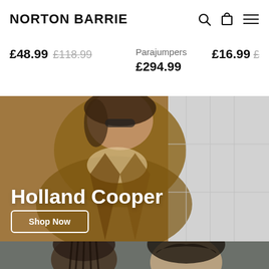NORTON BARRIE
£48.99  £118.99    Parajumpers    £294.99    £16.99  £...
[Figure (photo): Woman wearing brown leather jacket and scarf, modeling for Holland Cooper brand banner]
Holland Cooper
Shop Now
[Figure (photo): Two models wearing Moose Knuckles branded clothing, dark background]
Moose Knuckles
Shop Now